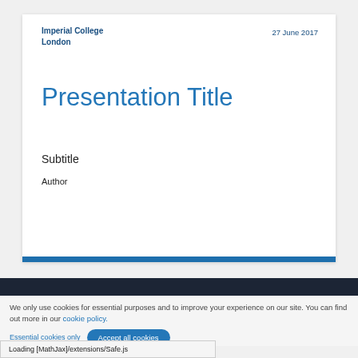Imperial College London
27 June 2017
Presentation Title
Subtitle
Author
We only use cookies for essential purposes and to improve your experience on our site. You can find out more in our cookie policy.
Essential cookies only   Accept all cookies
Loading [MathJax]/extensions/Safe.js